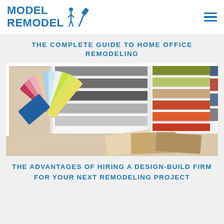MODEL REMODEL
THE COMPLETE GUIDE TO HOME OFFICE REMODELING
[Figure (photo): Color swatches and fabric samples spread open on a light wooden surface — a fan of paint color chips in yellow, green, blue, and pink on the left, an open book of textile/upholstery fabric swatches in grays, reds, greens, and blues in the center and right, and several wood veneer samples at the bottom center.]
THE ADVANTAGES OF HIRING A DESIGN-BUILD FIRM FOR YOUR NEXT REMODELING PROJECT